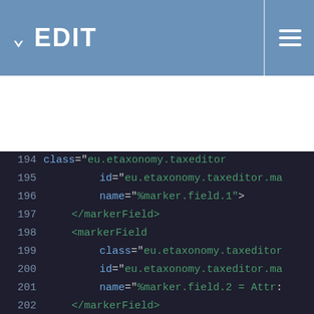EDIT
[Figure (screenshot): XML code editor showing lines 194-219 of a plugin configuration file with markerField elements containing class, id, and name attributes from eu.etaxonomy.taxeditor package]